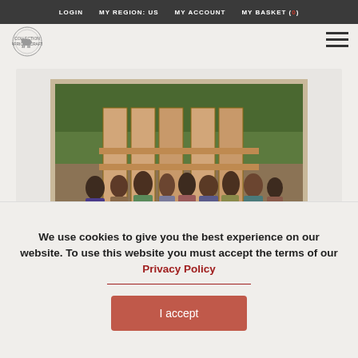LOGIN   MY REGION: US   MY ACCOUNT   MY BASKET (0)
[Figure (photo): Group of people standing in front of wooden bunk bed furniture outdoors on red dirt ground]
Last years donation of text books to Kikwasuni primary school by
We use cookies to give you the best experience on our website. To use this website you must accept the terms of our Privacy Policy
I accept